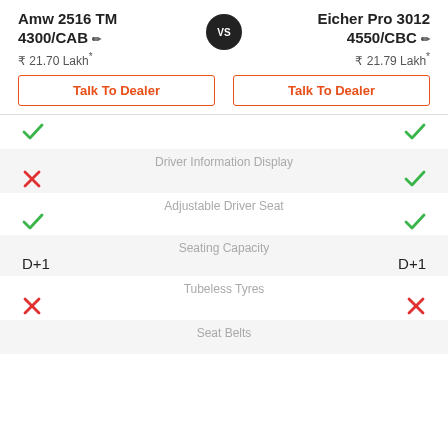Amw 2516 TM 4300/CAB
Eicher Pro 3012 4550/CBC
₹ 21.70 Lakh*
₹ 21.79 Lakh*
Talk To Dealer
Talk To Dealer
| Amw 2516 TM 4300/CAB | Feature | Eicher Pro 3012 4550/CBC |
| --- | --- | --- |
| ✓ |  | ✓ |
| ✗ | Driver Information Display | ✓ |
| ✓ | Adjustable Driver Seat | ✓ |
| D+1 | Seating Capacity | D+1 |
| ✗ | Tubeless Tyres | ✗ |
|  | Seat Belts |  |